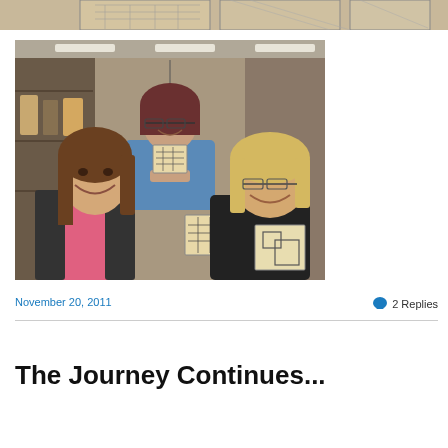[Figure (photo): Top strip showing partial view of decorative tiles/cards with patterns, cropped at top of page]
[Figure (photo): Three women smiling and holding up small hand-drawn artwork cards/tiles in a craft or gift shop. One woman in the back wearing blue, one on the left in pink/black, one on the right in black. Store shelves visible in background.]
November 20, 2011
2 Replies
The Journey Continues...